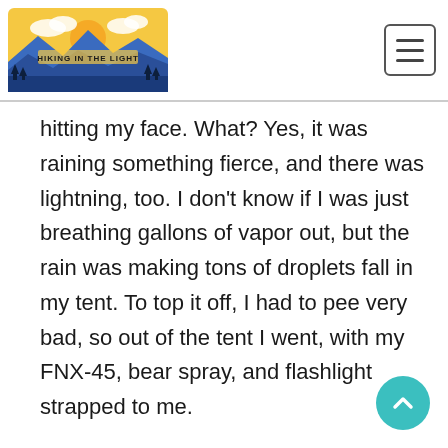HIKING IN THE LIGHT
hitting my face. What? Yes, it was raining something fierce, and there was lightning, too. I don't know if I was just breathing gallons of vapor out, but the rain was making tons of droplets fall in my tent. To top it off, I had to pee very bad, so out of the tent I went, with my FNX-45, bear spray, and flashlight strapped to me.
Once I was back in, I dried off with my Rainleaf towel and then put some dry bags over my top quilt. My other Big Agnes Copper